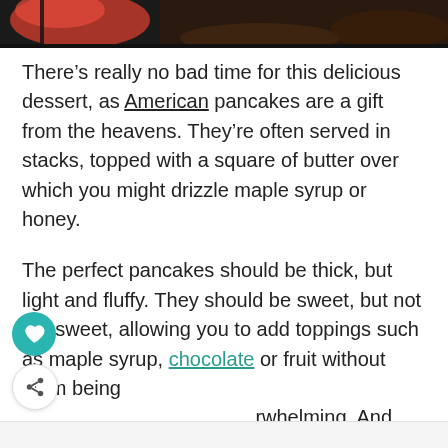[Figure (photo): Top portion of a food photo showing pancakes or dessert items with dark and red toppings, partially cropped at the top of the page]
There’s really no bad time for this delicious dessert, as American pancakes are a gift from the heavens. They’re often served in stacks, topped with a square of butter over which you might drizzle maple syrup or honey.
The perfect pancakes should be thick, but light and fluffy. They should be sweet, but not too sweet, allowing you to add toppings such as maple syrup, chocolate or fruit without them being overwhelming. And most of all, they should be enjoyed even by the pickiest eater.